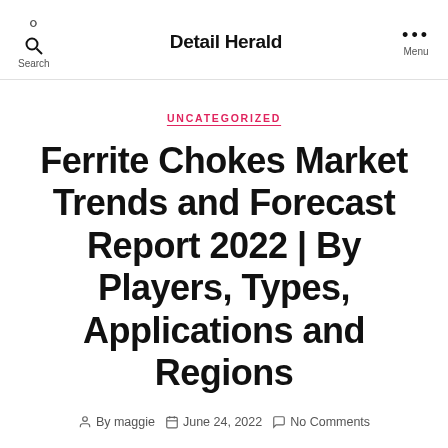Search  Detail Herald  Menu
UNCATEGORIZED
Ferrite Chokes Market Trends and Forecast Report 2022 | By Players, Types, Applications and Regions
By maggie  June 24, 2022  No Comments